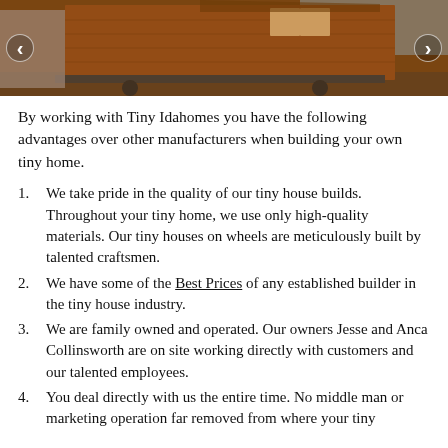[Figure (photo): A wooden tiny home on wheels, shown at golden hour lighting, with slide-out section extended. Navigation arrows visible on left and right sides.]
By working with Tiny Idahomes you have the following advantages over other manufacturers when building your own tiny home.
We take pride in the quality of our tiny house builds. Throughout your tiny home, we use only high-quality materials. Our tiny houses on wheels are meticulously built by talented craftsmen.
We have some of the Best Prices of any established builder in the tiny house industry.
We are family owned and operated. Our owners Jesse and Anca Collinsworth are on site working directly with customers and our talented employees.
You deal directly with us the entire time. No middle man or marketing operation far removed from where your tiny